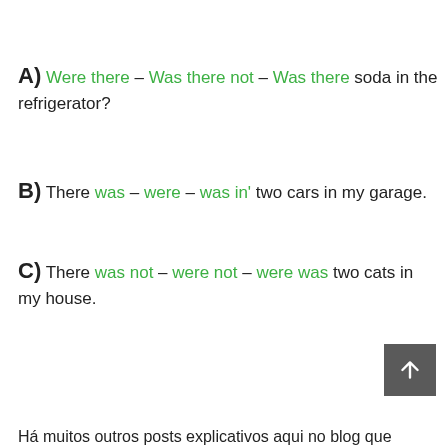A) Were there – Was there not – Was there soda in the refrigerator?
B) There was – were – was in' two cars in my garage.
C) There was not – were not – were was two cats in my house.
Há muitos outros posts explicativos aqui no blog que